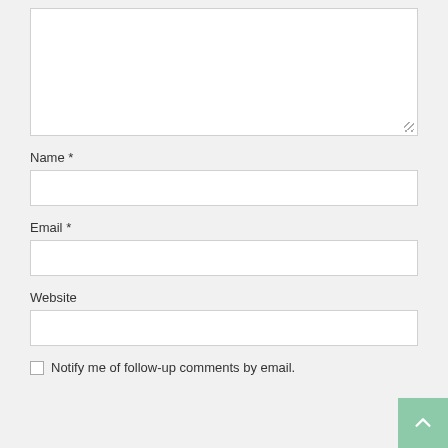[Figure (screenshot): Large empty textarea input box with resize handle at bottom right corner]
Name *
[Figure (screenshot): Single-line text input field for Name]
Email *
[Figure (screenshot): Single-line text input field for Email]
Website
[Figure (screenshot): Single-line text input field for Website]
Notify me of follow-up comments by email.